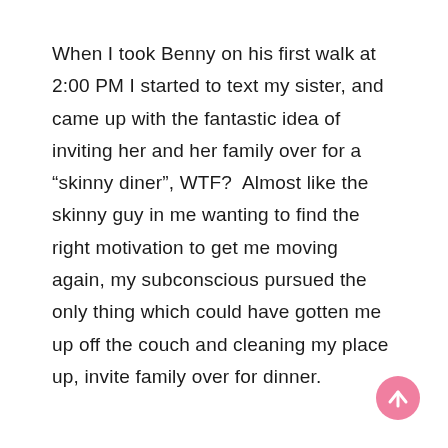When I took Benny on his first walk at 2:00 PM I started to text my sister, and came up with the fantastic idea of inviting her and her family over for a “skinny diner”, WTF?  Almost like the skinny guy in me wanting to find the right motivation to get me moving again, my subconscious pursued the only thing which could have gotten me up off the couch and cleaning my place up, invite family over for dinner.
[Figure (other): Pink circular scroll-to-top button with upward arrow icon]